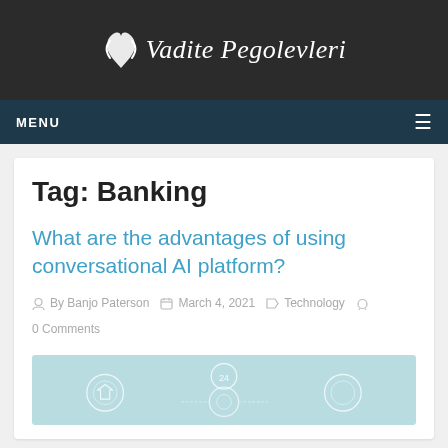Vadite Pegolevleri
Tag: Banking
What are the advantages of using conversational AI platform?
By Banjo Paterson   March 4, 2021   Technology   0 Comments
[Figure (illustration): Light blue preview image with circular icons and connecting lines suggesting AI / chatbot platform infographic]